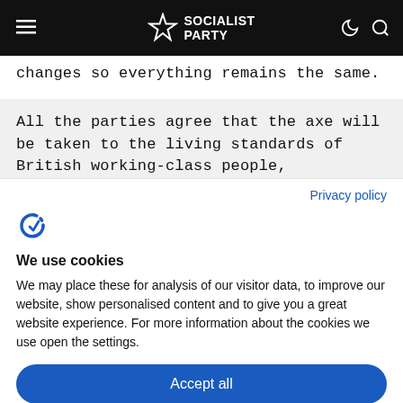Socialist Party
changes so everything remains the same.
All the parties agree that the axe will be taken to the living standards of British working-class people,
Privacy policy
[Figure (logo): Complianz cookie consent logo - stylized C with checkmark]
We use cookies
We may place these for analysis of our visitor data, to improve our website, show personalised content and to give you a great website experience. For more information about the cookies we use open the settings.
Accept all
Deny
No, adjust